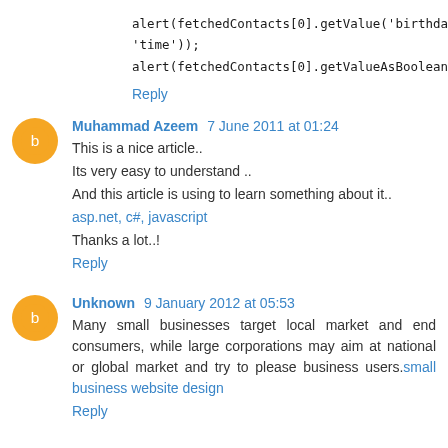alert(fetchedContacts[0].getValue('birthdate', 'time'));
alert(fetchedContacts[0].getValueAsBoolean('donotemail'));
Reply
Muhammad Azeem 7 June 2011 at 01:24
This is a nice article..
Its very easy to understand ..
And this article is using to learn something about it..
asp.net, c#, javascript
Thanks a lot..!
Reply
Unknown 9 January 2012 at 05:53
Many small businesses target local market and end consumers, while large corporations may aim at national or global market and try to please business users.small business website design
Reply